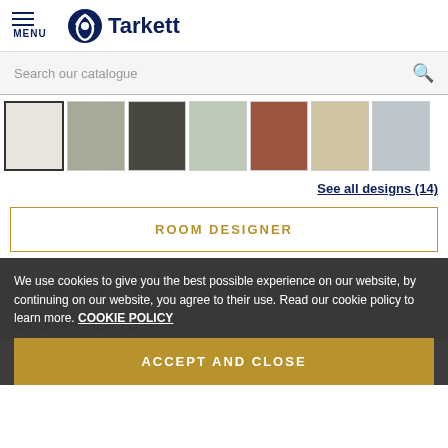MENU | Tarkett
Search our catalogue
[Figure (other): Row of 7 color swatches: white/cream (selected), grey-green, dark olive/charcoal, light sage green, terracotta/rust, beige/tan, light grey-blue]
See all designs (14)
ROOM DESIGNER
Safety Floors
Safetred Ion Linen Ion Linen
LIGHT GREY
We use cookies to give you the best possible experience on our website, by continuing on our website, you agree to their use. Read our cookie policy to learn more. COOKIE POLICY
ACCEPT AND CLOSE
woven design, Safetred Ion Linen is a safety floor with